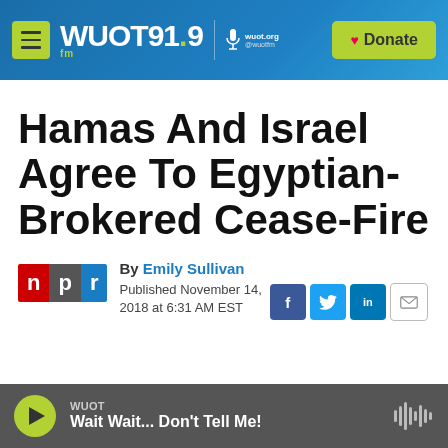WUOT 91.9 FM | wuot.org @wuotfm | Donate
Hamas And Israel Agree To Egyptian-Brokered Cease-Fire
By Emily Sullivan
Published November 14, 2018 at 6:31 AM EST
WUOT — Wait Wait... Don't Tell Me!